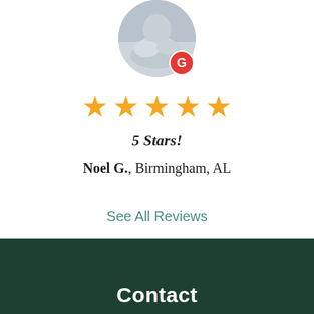[Figure (photo): Circular profile photo of a person with a dog, with a red Google 'G' badge overlaid at bottom-right]
[Figure (infographic): Five gold star rating icons in a row]
5 Stars!
Noel G., Birmingham, AL
See All Reviews
Contact